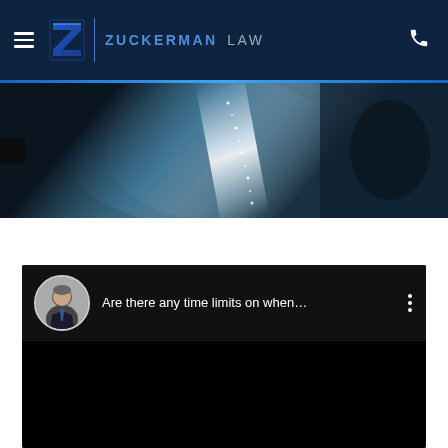Zuckerman Law — navigation header with hamburger menu, logo, and phone icon
[Figure (photo): Close-up abstract photo of a dark blue metallic surface, likely a law book spine or similar object, with light reflection and highlights running diagonally]
[Figure (screenshot): Embedded video player (black background) with circular avatar of a man in a suit, video title 'Are there any time limits on when...' and three-dot menu icon]